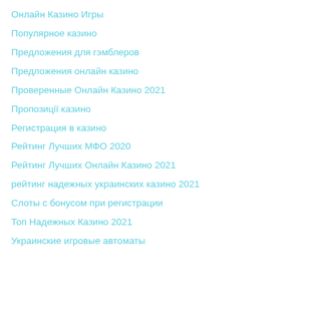Онлайн Казино Игры
Популярное казино
Предложения для гэмблеров
Предложения онлайн казино
Проверенные Онлайн Казино 2021
Пропозиції казино
Регистрация в казино
Рейтинг Лучших МФО 2020
Рейтинг Лучших Онлайн Казино 2021
рейтинг надежных украинских казино 2021
Слоты с бонусом при регистрации
Топ Надежных Казино 2021
Украинские игровые автоматы